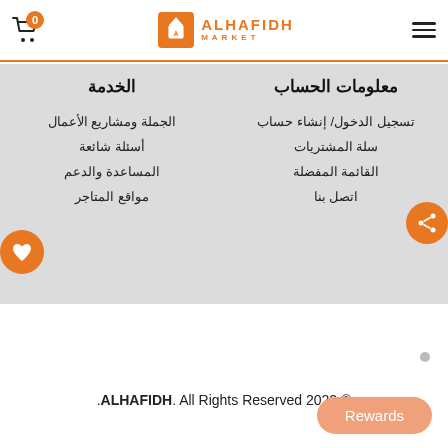ALHAFIDH MARKET — header with cart (0) and hamburger menu
معلومات الحساب
تسجيل الدخول/ إنشاء حساب
سلة المشتريات
القائمة المفضلة
اتصل بنا
الخدمة
الجملة ومشاريع الأعمال
أسئلة شائعة
المساعدة والدعم
مواقع المتاجر
© 2022 All Rights Reserved .ALHAFIDH.